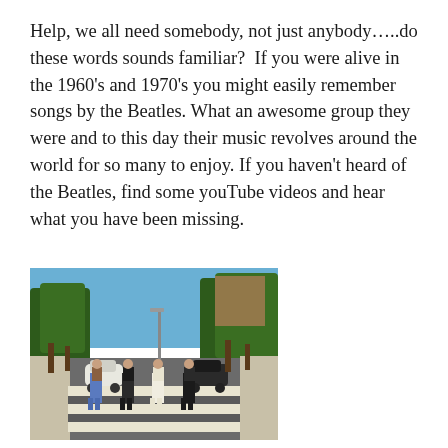Help, we all need somebody, not just anybody…..do these words sounds familiar?  If you were alive in the 1960's and 1970's you might easily remember songs by the Beatles. What an awesome group they were and to this day their music revolves around the world for so many to enjoy. If you haven't heard of the Beatles, find some youTube videos and hear what you have been missing.
[Figure (photo): The Beatles' Abbey Road album cover photo: four men walking in a line across a zebra crossing on Abbey Road in London, with trees and parked cars visible on the street behind them.]